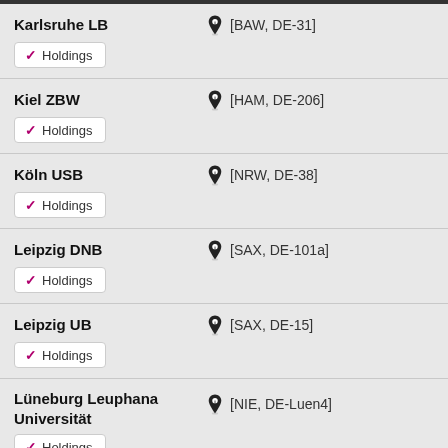Karlsruhe LB [BAW, DE-31] Holdings
Kiel ZBW [HAM, DE-206] Holdings
Köln USB [NRW, DE-38] Holdings
Leipzig DNB [SAX, DE-101a] Holdings
Leipzig UB [SAX, DE-15] Holdings
Lüneburg Leuphana Universität [NIE, DE-Luen4] Holdings